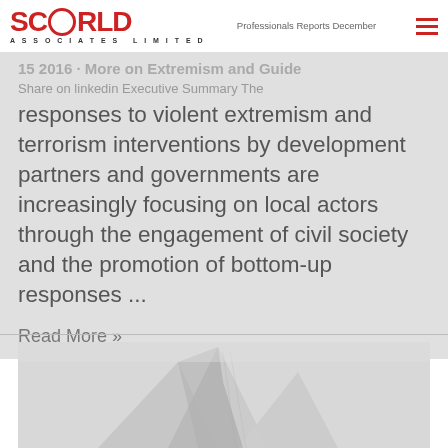SCORLD ASSOCIATES LIMITED — Professionals Reports December
Share on linkedin Executive Summary The responses to violent extremism and terrorism interventions by development partners and governments are increasingly focusing on local actors through the engagement of civil society and the promotion of bottom-up responses ...
Read More »
[Figure (photo): Black and white photo of a modern glass building with angular geometric architecture viewed from below]